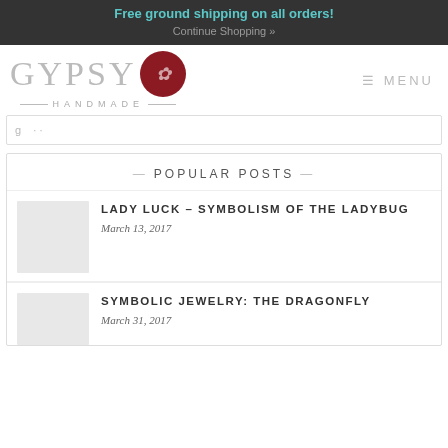Free ground shipping on all orders! Continue Shopping »
[Figure (logo): Gypsy Handmade logo with circular red emblem]
≡ MENU
POPULAR POSTS
LADY LUCK – SYMBOLISM OF THE LADYBUG
March 13, 2017
SYMBOLIC JEWELRY: THE DRAGONFLY
March 31, 2017